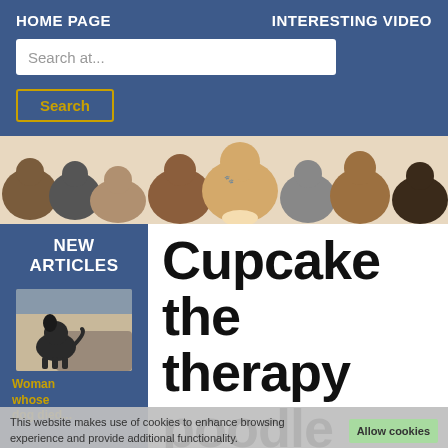HOME PAGE    INTERESTING VIDEO
Search at...
Search
[Figure (photo): Banner photo showing a row of various puppies and kittens of different breeds against a white background]
NEW ARTICLES
[Figure (photo): A dark-colored dog standing indoors]
Woman whose dog died
Cupcake the therapy poodle visits
This website makes use of cookies to enhance browsing experience and provide additional functionality.
Allow cookies